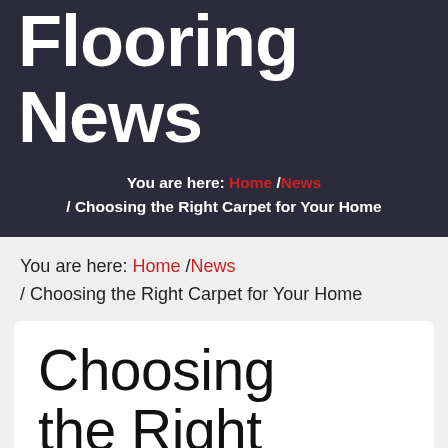Flooring News
You are here: Home / News / Choosing the Right Carpet for Your Home
You are here: Home / News / Choosing the Right Carpet for Your Home
Choosing the Right